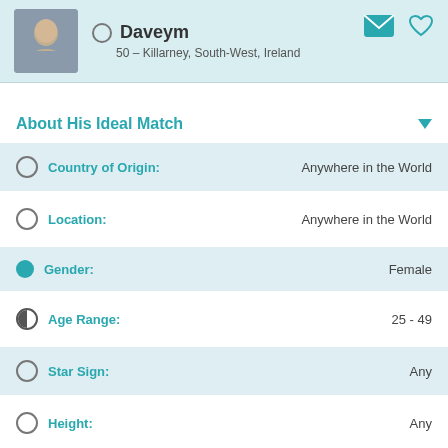Daveym
50 – Killarney, South-West, Ireland
About His Ideal Match
Country of Origin: Anywhere in the World
Location: Anywhere in the World
Gender: Female
Age Range: 25 - 49
Star Sign: Any
Height: Any